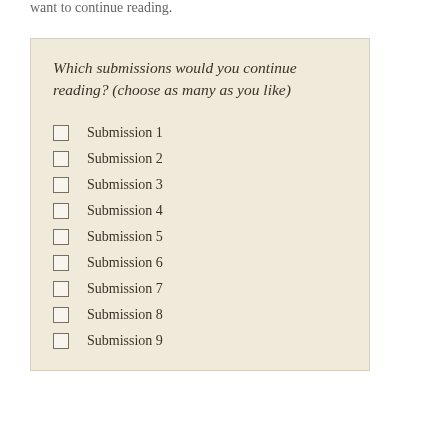want to continue reading.
Which submissions would you continue reading? (choose as many as you like)
Submission 1
Submission 2
Submission 3
Submission 4
Submission 5
Submission 6
Submission 7
Submission 8
Submission 9